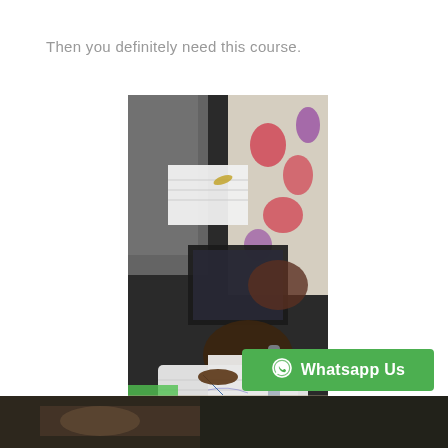Then you definitely need this course.
[Figure (photo): People sitting and taking notes/writing in notebooks during a course or training session, viewed from above at an angle. One person wearing a white lace top is writing with a pen in a notebook.]
[Figure (photo): Partial bottom photo showing another training/course session scene.]